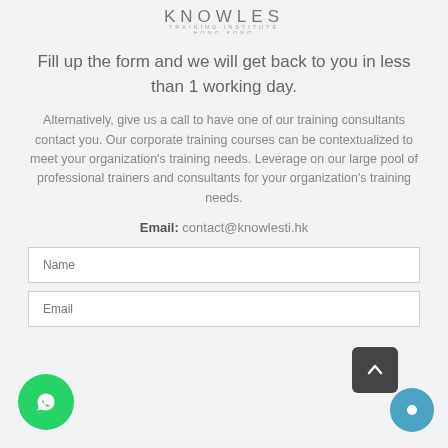[Figure (logo): Knowles Training Institute Hong Kong logo text]
Fill up the form and we will get back to you in less than 1 working day.
Alternatively, give us a call to have one of our training consultants contact you. Our corporate training courses can be contextualized to meet your organization's training needs. Leverage on our large pool of professional trainers and consultants for your organization's training needs.
Email: contact@knowlesti.hk